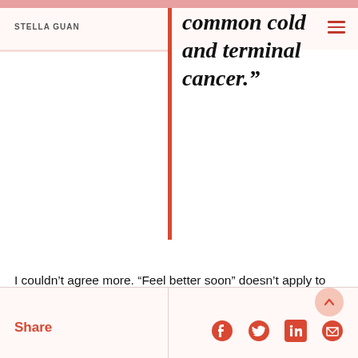STELLA GUAN
common cold and terminal cancer.”
I couldn’t agree more. “Feel better soon” doesn’t apply to those of us who are chronically ill. If you are new to chronic illness, adjusting the expectation of your body’s ability to heal may be one of the most difficult tasks. When your friends expect you to “get better already”, it’s frustrating to explain why your body is different from theirs.
Share